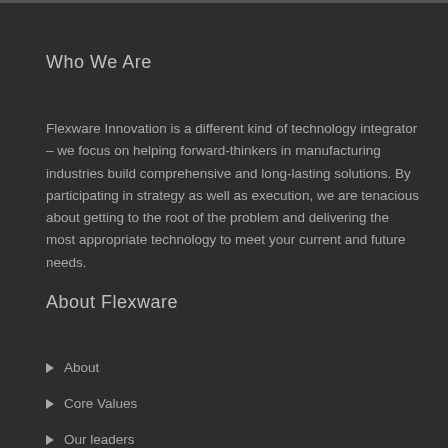Who We Are
Flexware Innovation is a different kind of technology integrator – we focus on helping forward-thinkers in manufacturing industries build comprehensive and long-lasting solutions. By participating in strategy as well as execution, we are tenacious about getting to the root of the problem and delivering the most appropriate technology to meet your current and future needs.
About Flexware
About
Core Values
Our leaders